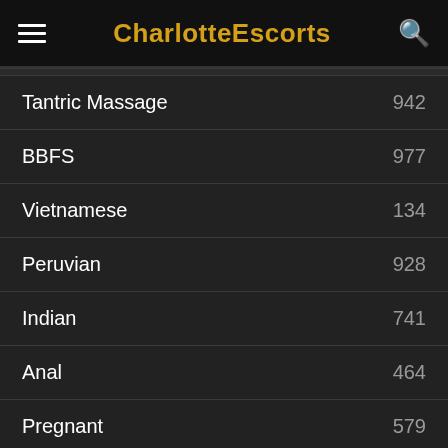CharlotteEscorts
| Category | Count |
| --- | --- |
| Tantric Massage | 942 |
| BBFS | 977 |
| Vietnamese | 134 |
| Peruvian | 928 |
| Indian | 741 |
| Anal | 464 |
| Pregnant | 579 |
| Lactating | 278 |